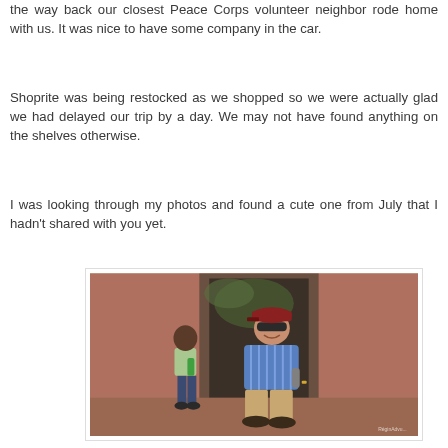the way back our closest Peace Corps volunteer neighbor rode home with us. It was nice to have some company in the car.
Shoprite was being restocked as we shopped so we were actually glad we had delayed our trip by a day. We may not have found anything on the shelves otherwise.
I was looking through my photos and found a cute one from July that I hadn't shared with you yet.
[Figure (photo): A man in a striped blue shirt, khaki pants, sunglasses and a baseball cap sits smiling on a step or low surface in front of a doorway. A small child in a light green shirt and jeans stands beside him, also holding a green bottle. The setting appears to be an African home exterior with terracotta/red-painted walls.]